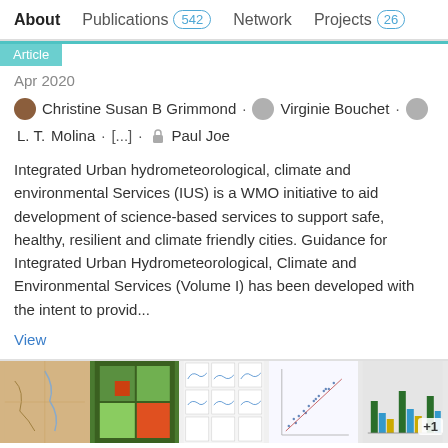About | Publications 542 | Network | Projects 26
Article
Apr 2020
Christine Susan B Grimmond · Virginie Bouchet · L. T. Molina · [...] · Paul Joe
Integrated Urban hydrometeorological, climate and environmental Services (IUS) is a WMO initiative to aid development of science-based services to support safe, healthy, resilient and climate friendly cities. Guidance for Integrated Urban Hydrometeorological, Climate and Environmental Services (Volume I) has been developed with the intent to provid...
View
[Figure (screenshot): Row of five thumbnail images showing maps, satellite imagery, scatter plots, and a bar chart with +1 overlay badge]
Incorporation of pollen data in source maps is vital for